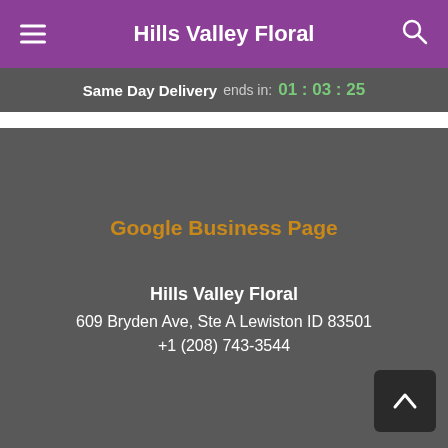Hills Valley Floral
Same Day Delivery ends in: 01 : 03 : 25
Google Business Page
Hills Valley Floral
609 Bryden Ave, Ste A Lewiston ID 83501
+1 (208) 743-3544
Copyrighted images herein are used with permission by Hills Valley Floral.